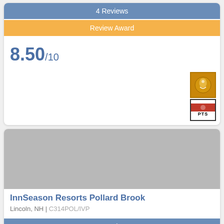4 Reviews
Review Award
8.50/10
[Figure (logo): Two certification/award badges stacked: a gold badge with a decorative emblem, and a white PTS badge with red header]
[Figure (photo): Gray placeholder image for InnSeason Resorts Pollard Brook property]
InnSeason Resorts Pollard Brook
Lincoln, NH | C314POL/IVP
43 Reviews